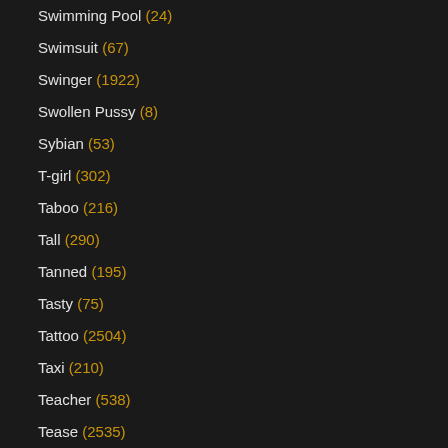Swimming Pool (24)
Swimsuit (67)
Swinger (1922)
Swollen Pussy (8)
Sybian (53)
T-girl (302)
Taboo (216)
Tall (290)
Tanned (195)
Tasty (75)
Tattoo (2504)
Taxi (210)
Teacher (538)
Tease (2535)
Teen (30286)
Teen Anal (4222)